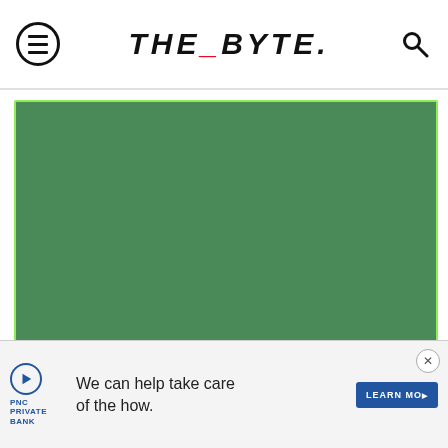THE_BYTE.
[Figure (other): Green card thumbnail with date 10.29.15 and READ MORE arrow button]
[Figure (other): Dark card with yellow stripe and GET IN EARLY label, bokeh background]
[Figure (other): Advertisement banner: PNC Private Bank - We can help take care of the how. LEARN MORE button with close X]